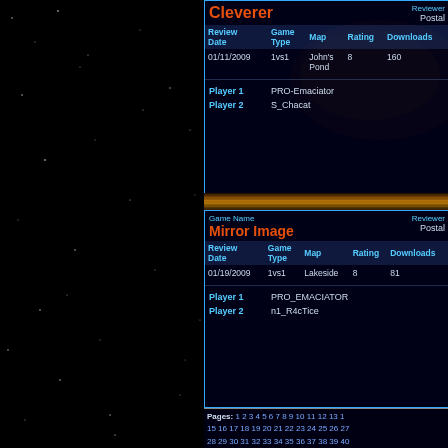[Figure (photo): Black starfield background on left half of page]
| Review Date | Game Type | Map | Rating | Downloads |
| --- | --- | --- | --- | --- |
| 01/11/2009 | 1vs1 | John's Pond | 8 | 160 |
| Review Date | Game Type | Map | Rating | Downloads |
| --- | --- | --- | --- | --- |
| 01/19/2009 | 1vs1 | Lakeside | 8 | 81 |
Pages: 1 2 3 4 5 6 7 8 9 10 11 12 13 14 15 16 17 18 19 20 21 22 23 24 25 26 27 28 29 30 31 32 33 34 35 36 37 38 39 40 41 42 43 44 45 46 47 48 49 50 51 52 53 54 55 56 57 58 59 60 61 62 63 64 65 66 67 68 69 70 71 72 73 74 75 76 77 78 79